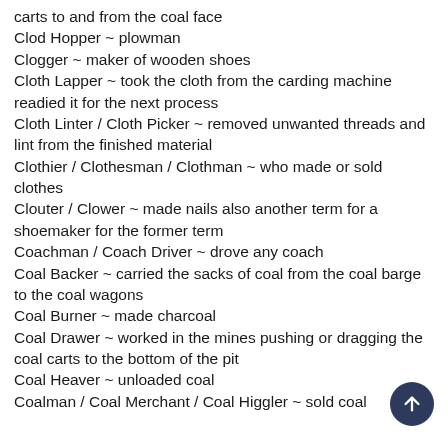carts to and from the coal face
Clod Hopper ~ plowman
Clogger ~ maker of wooden shoes
Cloth Lapper ~ took the cloth from the carding machine readied it for the next process
Cloth Linter / Cloth Picker ~ removed unwanted threads and lint from the finished material
Clothier / Clothesman / Clothman ~ who made or sold clothes
Clouter / Clower ~ made nails also another term for a shoemaker for the former term
Coachman / Coach Driver ~ drove any coach
Coal Backer ~ carried the sacks of coal from the coal barge to the coal wagons
Coal Burner ~ made charcoal
Coal Drawer ~ worked in the mines pushing or dragging the coal carts to the bottom of the pit
Coal Heaver ~ unloaded coal
Coalman / Coal Merchant / Coal Higgler ~ sold coal